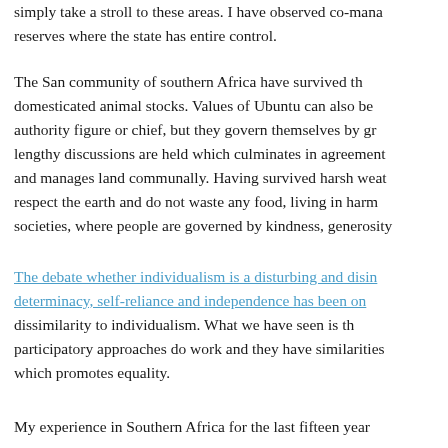simply take a stroll to these areas. I have observed co-mana... reserves where the state has entire control.
The San community of southern Africa have survived th... domesticated animal stocks. Values of Ubuntu can also be ... authority figure or chief, but they govern themselves by gr... lengthy discussions are held which culminates in agreement... and manages land communally. Having survived harsh weat... respect the earth and do not waste any food, living in harm... societies, where people are governed by kindness, generosity...
The debate whether individualism is a disturbing and disin... determinacy, self-reliance and independence has been on... dissimilarity to individualism. What we have seen is th... participatory approaches do work and they have similarities... which promotes equality.
My experience in Southern Africa for the last fifteen year...